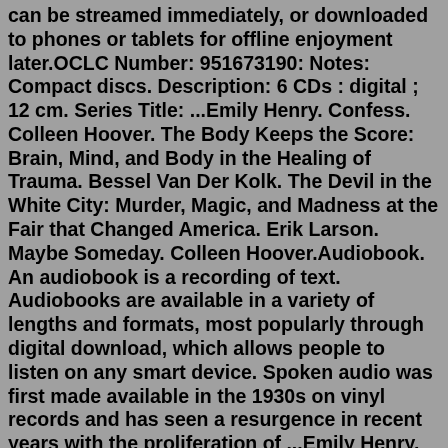can be streamed immediately, or downloaded to phones or tablets for offline enjoyment later.OCLC Number: 951673190: Notes: Compact discs. Description: 6 CDs : digital ; 12 cm. Series Title: ...Emily Henry. Confess. Colleen Hoover. The Body Keeps the Score: Brain, Mind, and Body in the Healing of Trauma. Bessel Van Der Kolk. The Devil in the White City: Murder, Magic, and Madness at the Fair that Changed America. Erik Larson. Maybe Someday. Colleen Hoover.Audiobook. An audiobook is a recording of text. Audiobooks are available in a variety of lengths and formats, most popularly through digital download, which allows people to listen on any smart device. Spoken audio was first made available in the 1930s on vinyl records and has seen a resurgence in recent years with the proliferation of ...Emily Henry. Confess. Colleen Hoover. The Body Keeps the Score: Brain, Mind, and Body in the Healing of Trauma. Bessel Van Der Kolk. The Devil in the White City: Murder, Magic, and Madness at the Fair that Changed America. Erik